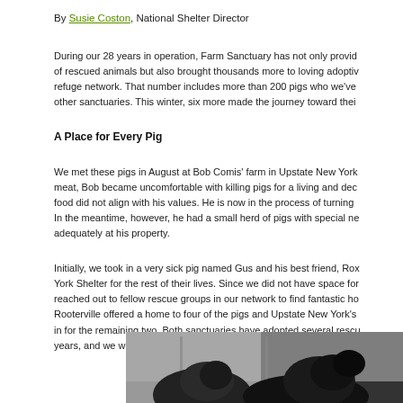By Susie Coston, National Shelter Director
During our 28 years in operation, Farm Sanctuary has not only provided of rescued animals but also brought thousands more to loving adoptiv refuge network. That number includes more than 200 pigs who we've other sanctuaries. This winter, six more made the journey toward thei
A Place for Every Pig
We met these pigs in August at Bob Comis' farm in Upstate New York meat, Bob became uncomfortable with killing pigs for a living and dec food did not align with his values. He is now in the process of turning In the meantime, however, he had a small herd of pigs with special ne adequately at his property.
Initially, we took in a very sick pig named Gus and his best friend, Rox York Shelter for the rest of their lives. Since we did not have space for reached out to fellow rescue groups in our network to find fantastic ho Rooterville offered a home to four of the pigs and Upstate New York's in for the remaining two. Both sanctuaries have adopted several rescu years, and we were excited that they were able to welcome these new
[Figure (photo): Photo of pigs, partially visible at bottom of page, dark silhouette of pig heads against an indoor background]